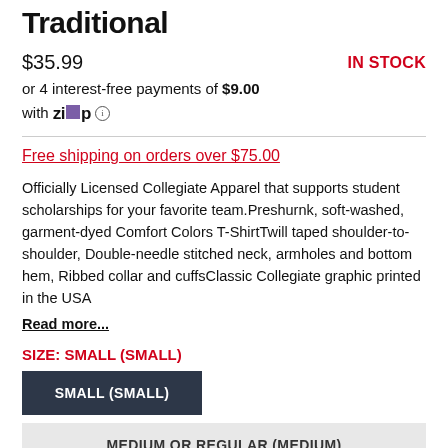Traditional
$35.99
IN STOCK
or 4 interest-free payments of $9.00 with Zip ℹ
Free shipping on orders over $75.00
Officially Licensed Collegiate Apparel that supports student scholarships for your favorite team.Preshurnk, soft-washed, garment-dyed Comfort Colors T-ShirtTwill taped shoulder-to-shoulder, Double-needle stitched neck, armholes and bottom hem, Ribbed collar and cuffsClassic Collegiate graphic printed in the USA
Read more...
SIZE: SMALL (SMALL)
SMALL (SMALL)
MEDIUM OR REGULAR (MEDIUM)